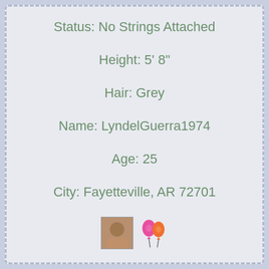Status: No Strings Attached
Height: 5' 8"
Hair: Grey
Name: LyndelGuerra1974
Age: 25
City: Fayetteville, AR 72701
[Figure (photo): Small thumbnail photo of a person and a pink/orange balloon emoji icon]